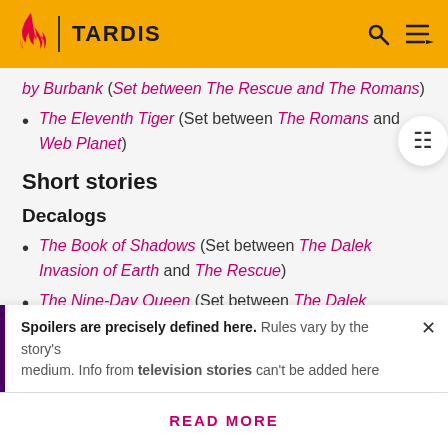TARDIS
by Burbank (Set between The Rescue and The Romans)
The Eleventh Tiger (Set between The Romans and Web Planet)
Short stories
Decalogs
The Book of Shadows (Set between The Dalek Invasion of Earth and The Rescue)
The Nine-Day Queen (Set between The Dalek Invasion of Earth and The Rescue)
Short Trips
Spoilers are precisely defined here. Rules vary by the story's medium. Info from television stories can't be added here
READ MORE